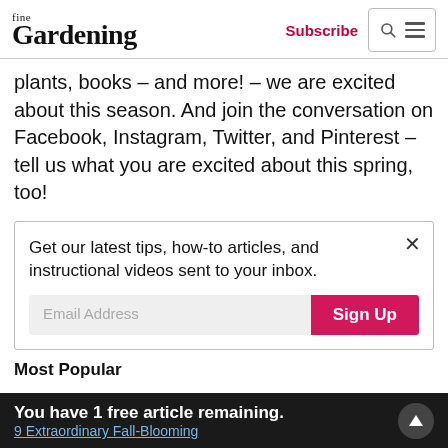fine Gardening | Subscribe | [search] [menu]
plants, books – and more! – we are excited about this season. And join the conversation on Facebook, Instagram, Twitter, and Pinterest – tell us what you are excited about this spring, too!
Get our latest tips, how-to articles, and instructional videos sent to your inbox.
Email Address [Sign Up]
Most Popular
You have 1 free article remaining. 9 Extraordinary Fall-Blooming…